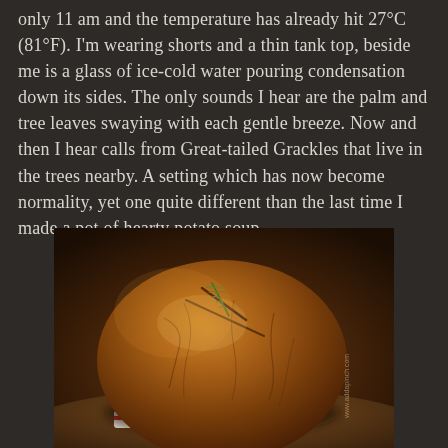only 11 am and the temperature has already hit 27°C (81°F). I'm wearing shorts and a thin tank top, beside me is a glass of ice-cold water pouring condensation down its sides. The only sounds I hear are the palm and tree leaves swaying with each gentle breeze. Now and then I hear calls from Great-tailed Grackles that live in the trees nearby. A setting which has now become normality, yet one quite different than the last time I made a pot of hearty potato soup.
[Figure (photo): A round rustic dark sourdough bread loaf with a cross-hatch score on top and a sprig of rosemary, placed on a decorative red and white striped cloth on a wooden surface. Warm, moody lighting. Watermark in lower right: www.addapinch.com]